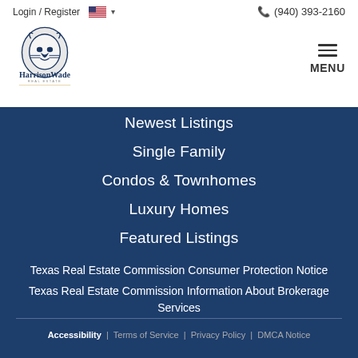Login / Register  (940) 393-2160
[Figure (logo): Harrison Wade Real Estate lion logo with text Harrison Wade Real Estate]
Newest Listings
Single Family
Condos & Townhomes
Luxury Homes
Featured Listings
Texas Real Estate Commission Consumer Protection Notice
Texas Real Estate Commission Information About Brokerage Services
Accessibility  |  Terms of Service  |  Privacy Policy  |  DMCA Notice